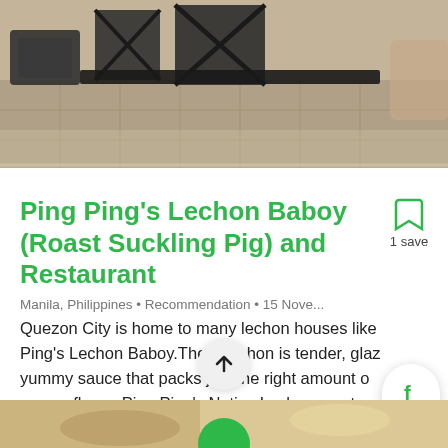[Figure (photo): Interior photo of a restaurant with black metal chairs and tables on a tiled floor]
Ping Ping's Lechon Baboy (Roast Suckling Pig) and Restaurant
Manila, Philippines • Recommendation • 15 Nove...
Quezon City is home to many lechon houses like Ping's Lechon Baboy.Their Lechon is tender, glaz yummy sauce that packs just the right amount o savory flavor. Ping Ping's Native Lechon roasts n pigs every day, so you're guaranteed the Lecon get here is always fresh.
[Figure (photo): Bottom portion showing partial food or tableware photo]